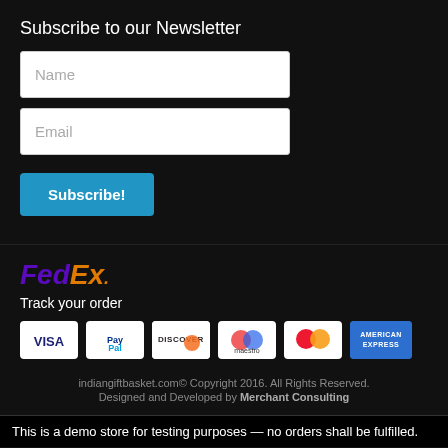Subscribe to our Newsletter
Name
Email
Subscribe!
[Figure (logo): FedEx logo in purple and orange]
Track your order
[Figure (logo): Payment icons: VISA, PayPal, DISCOVER, Maestro, MasterCard, American Express]
indiangiftbasket.com© Copyright 2016. All Rights Reserved. Designed and Developed by Merchant Consulting
This is a demo store for testing purposes — no orders shall be fulfilled.